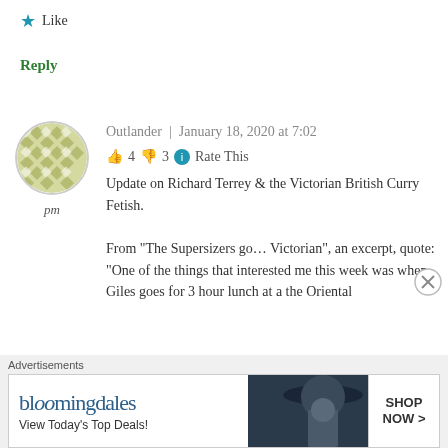★ Like
Reply
[Figure (illustration): Circular avatar with olive/green geometric diamond pattern]
pm
Outlander | January 18, 2020 at 7:02 pm
👍 4 👎 3 ℹ Rate This
Update on Richard Terrey & the Victorian British Curry Fetish.

From "The Supersizers go… Victorian", an excerpt, quote: "One of the things that interested me this week was when Giles goes for 3 hour lunch at a the Oriental
[Figure (screenshot): Bloomingdales advertisement banner: 'bloomingdales / View Today's Top Deals!' with woman in hat image and 'SHOP NOW >' button]